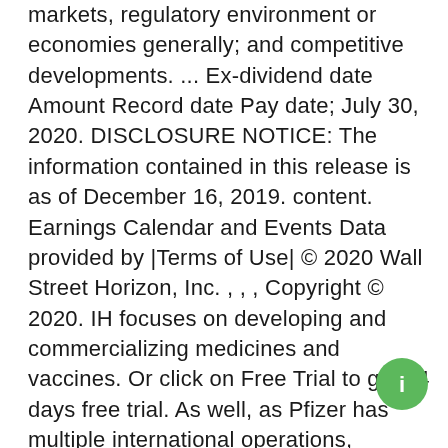markets, regulatory environment or economies generally; and competitive developments. ... Ex-dividend date Amount Record date Pay date; July 30, 2020. DISCLOSURE NOTICE: The information contained in this release is as of December 16, 2019. content. Earnings Calendar and Events Data provided by |Terms of Use| © 2020 Wall Street Horizon, Inc. , , , Copyright © 2020. IH focuses on developing and commercializing medicines and vaccines. Or click on Free Trial to get 14 days free trial. As well, as Pfizer has multiple international operations, significant portions of Pfizer's revenues are affected by foreign exchange rates. MarketBeat does not provide financial advice and does not issue recommendations or offers to buy stock or sell any security. Dividend Yield is the relation between a stock's Annualized Dividend and its current stock price. Information is provided 'as-is' and solely for informational purposes, not for trading purposes or a..., and is delayed. Frequency: Quarterly. Please help us...